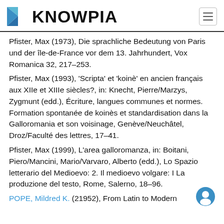KNOWPIA
Pfister, Max (1973), Die sprachliche Bedeutung von Paris und der île-de-France vor dem 13. Jahrhundert, Vox Romanica 32, 217–253.
Pfister, Max (1993), 'Scripta' et 'koinè' en ancien français aux XIIe et XIIIe siècles?, in: Knecht, Pierre/Marzys, Zygmunt (edd.), Écriture, langues communes et normes. Formation spontanée de koinès et standardisation dans la Galloromania et son voisinage, Genève/Neuchâtel, Droz/Faculté des lettres, 17–41.
Pfister, Max (1999), L'area galloromanza, in: Boitani, Piero/Mancini, Mario/Varvaro, Alberto (edd.), Lo Spazio letterario del Medioevo: 2. Il medioevo volgare: I La produzione del testo, Rome, Salerno, 18–96.
POPE, Mildred K. (21952), From Latin to Modern